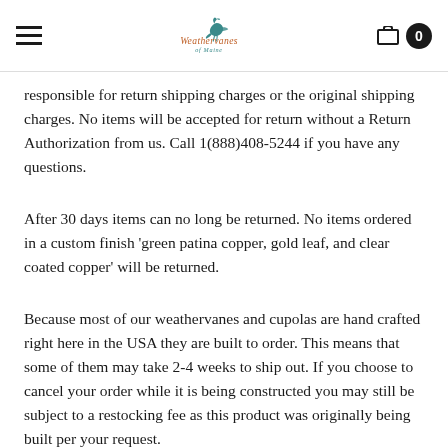Weathervanes of Maine — navigation header with hamburger menu, logo, and cart (0)
responsible for return shipping charges or the original shipping charges. No items will be accepted for return without a Return Authorization from us. Call 1(888)408-5244 if you have any questions.
After 30 days items can no long be returned. No items ordered in a custom finish 'green patina copper, gold leaf, and clear coated copper' will be returned.
Because most of our weathervanes and cupolas are hand crafted right here in the USA they are built to order. This means that some of them may take 2-4 weeks to ship out. If you choose to cancel your order while it is being constructed you may still be subject to a restocking fee as this product was originally being built per your request.